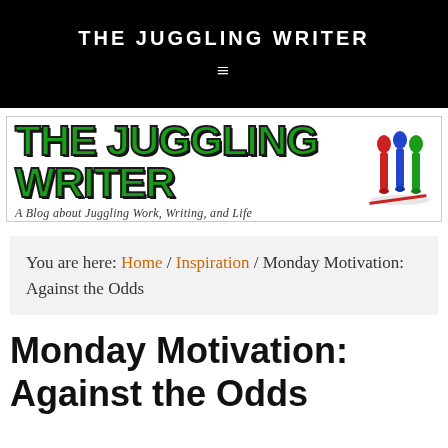THE JUGGLING WRITER
[Figure (logo): The Juggling Writer blog logo with green bold text and juggling pins illustration, tagline: A Blog about Juggling Work, Writing, and Life]
You are here: Home / Inspiration / Monday Motivation: Against the Odds
Monday Motivation: Against the Odds